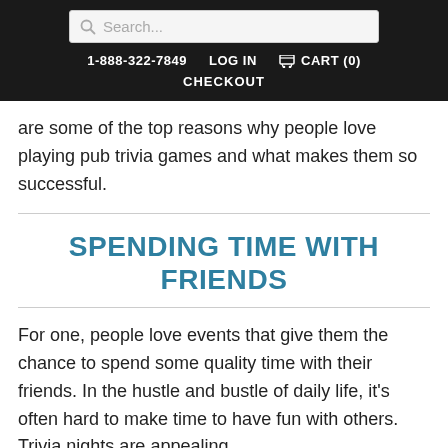Search... | 1-888-322-7849 | LOG IN | CART (0) | CHECKOUT
are some of the top reasons why people love playing pub trivia games and what makes them so successful.
SPENDING TIME WITH FRIENDS
For one, people love events that give them the chance to spend some quality time with their friends. In the hustle and bustle of daily life, it’s often hard to make time to have fun with others. Trivia nights are appealing